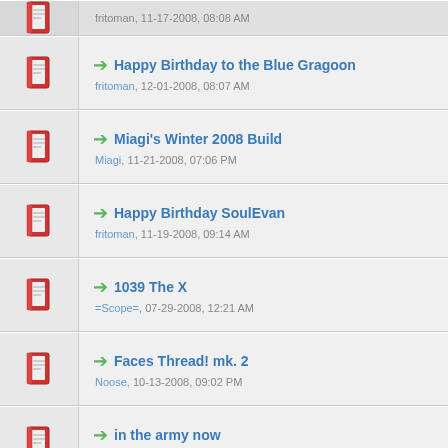fritoman, 11-17-2008, 08:08 AM
Happy Birthday to the Blue Gragoon — fritoman, 12-01-2008, 08:07 AM
Miagi's Winter 2008 Build — Miagi, 11-21-2008, 07:06 PM
Happy Birthday SoulEvan — fritoman, 11-19-2008, 09:14 AM
1039 The X — =Scope=, 07-29-2008, 12:21 AM
Faces Thread! mk. 2 — Noose, 10-13-2008, 09:02 PM
in the army now — Gragoon, 10-12-2008, 11:42 AM
congrats to our newest father on his Bday — fritoman, 10-24-2008, 10:12 AM
Happy Birthday CowEater — 8-up, 10-18-2008, 07:29 PM